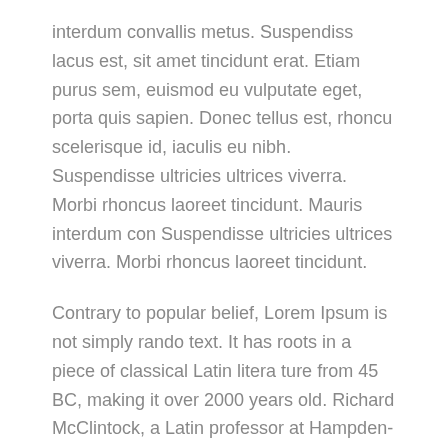interdum convallis metus. Suspendiss lacus est, sit amet tincidunt erat. Etiam purus sem, euismod eu vulputate eget, porta quis sapien. Donec tellus est, rhoncu scelerisque id, iaculis eu nibh. Suspendisse ultricies ultrices viverra. Morbi rhoncus laoreet tincidunt. Mauris interdum con Suspendisse ultricies ultrices viverra. Morbi rhoncus laoreet tincidunt.
Contrary to popular belief, Lorem Ipsum is not simply rando text. It has roots in a piece of classical Latin litera ture from 45 BC, making it over 2000 years old. Richard McClintock, a Latin professor at Hampden-Sydney. contrary to popular belief, Lorem Ipsum is not simply rando text. It has roots in a piece of classical Latin from 45 BC, making it over 2000 years old.
Contrary to popular belief, Lorem Ipsum is not simply